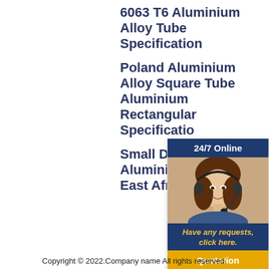6063 T6 Aluminium Alloy Tube Specification
Poland Aluminium Alloy Square Tube Aluminium Rectangular Specification
Small Diameter T6 Aluminium Tube Description East Africa
[Figure (infographic): 24/7 Online customer service chat widget with photo of woman wearing headset, 'Have any requests, click here.' text, and orange Quotation button]
Copyright © 2022.Company name All rights reserved.